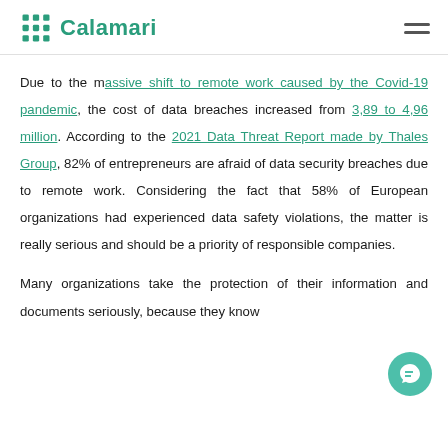Calamari
Due to the massive shift to remote work caused by the Covid-19 pandemic, the cost of data breaches increased from 3,89 to 4,96 million. According to the 2021 Data Threat Report made by Thales Group, 82% of entrepreneurs are afraid of data security breaches due to remote work. Considering the fact that 58% of European organizations had experienced data safety violations, the matter is really serious and should be a priority of responsible companies.
Many organizations take the protection of their information and documents seriously, because they know...